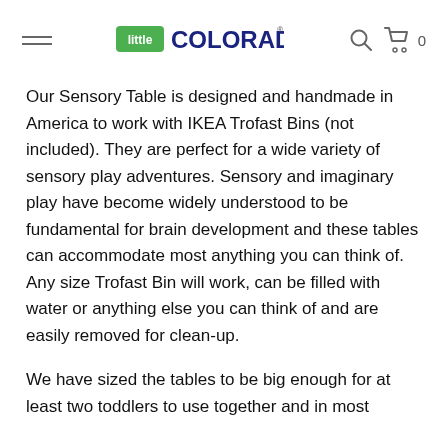Little Colorado — navigation header with hamburger menu, logo, search icon, and cart (0)
Our Sensory Table is designed and handmade in America to work with IKEA Trofast Bins (not included). They are perfect for a wide variety of sensory play adventures. Sensory and imaginary play have become widely understood to be fundamental for brain development and these tables can accommodate most anything you can think of. Any size Trofast Bin will work, can be filled with water or anything else you can think of and are easily removed for clean-up.
We have sized the tables to be big enough for at least two toddlers to use together and in most